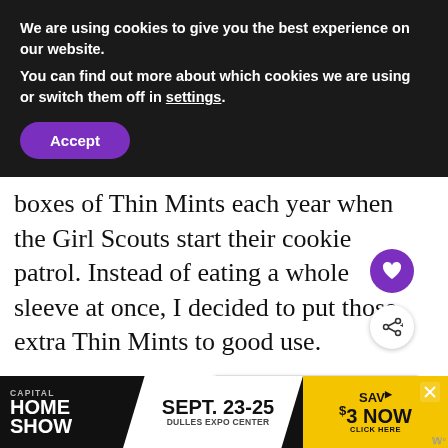We are using cookies to give you the best experience on our website.
You can find out more about which cookies we are using or switch them off in settings.
Accept
boxes of Thin Mints each year when the Girl Scouts start their cookie patrol. Instead of eating a whole sleeve at once, I decided to put those extra Thin Mints to good use.
I rounded up the boys to help me throw together these really easy mint choco truffles (which require no baking). Not only do
[Figure (infographic): WHAT'S NEXT arrow label with thumbnail image and text '5 Easy Tips For Low Wa...']
[Figure (infographic): Advertisement banner: CAPITAL HOME SHOW, SEPT. 23-25, DULLES EXPO CENTER, SAVE $3 NOW, CLICK HERE]